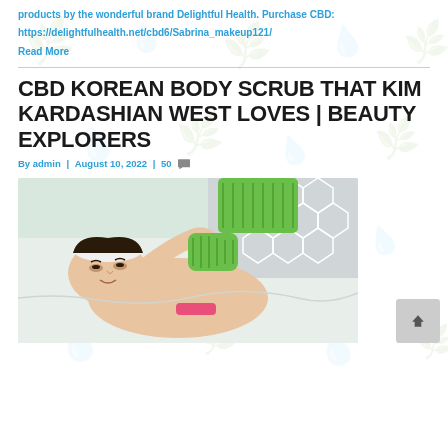products by the wonderful brand Delightful Health. Purchase CBD: https://delightfulhealth.net/cbd6/Sabrina_makeup121/
Read More
CBD KOREAN BODY SCRUB THAT KIM KARDASHIAN WEST LOVES | BEAUTY EXPLORERS
By admin | August 10, 2022 | 50
[Figure (photo): Woman lying down with a white headband receiving a green exfoliating glove body scrub treatment, with a hexagonal tile pattern in the background]